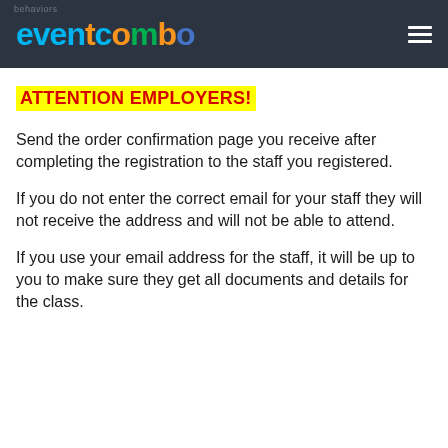EVENTCOMBO
ATTENTION EMPLOYERS!
Send the order confirmation page you receive after completing the registration to the staff you registered.
If you do not enter the correct email for your staff they will not receive the address and will not be able to attend.
If you use your email address for the staff, it will be up to you to make sure they get all documents and details for the class.